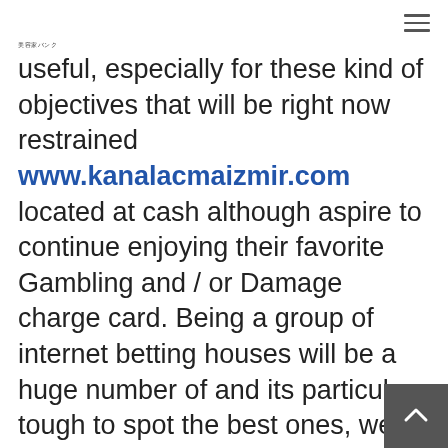美容家バンク
useful, especially for these kind of objectives that will be right now restrained www.kanalacmaizmir.com located at cash although aspire to continue enjoying their favorite Gambling and / or Damage charge card. Being a group of internet betting houses will be a huge number of and its particular tough to spot the best ones, we seek to guide you through the field of over the internet sporting. For ones, everyone test the actual gambling houses basic-by hand and check out an effective way entirely many people execute.